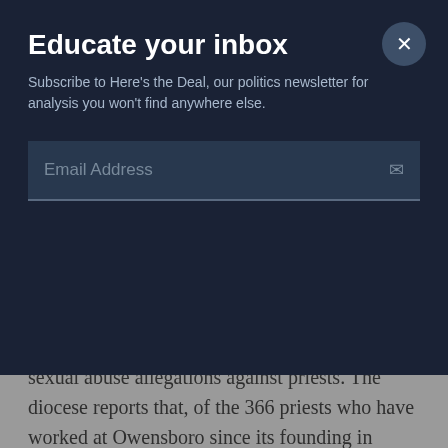Educate your inbox
Subscribe to Here's the Deal, our politics newsletter for analysis you won't find anywhere else.
Email Address
sexual abuse allegations against priests. The diocese reports that, of the 366 priests who have worked at Owensboro since its founding in 1937, there have been allegations brought by 62 people against 27 priests. “The diocese has only received four allegations of incidents that have occured after 2002,” according to the report.
Oct. 10, 2018: All 15 Catholic dioceses in Texas and the Personal Ordinariate of the